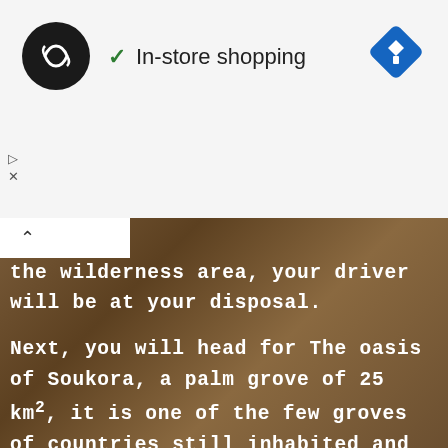[Figure (screenshot): App UI top bar with circular logo (dark, showing infinity-like symbol), green checkmark with 'In-store shopping' text, and blue diamond direction icon on the right. Small play and X icons below on the left.]
the wilderness area, your driver will be at your disposal.

Next, you will head for The oasis of Soukora, a palm grove of 25 km², it is one of the few groves of countries still inhabited and cultivated classified as international heritage of UNESCO.